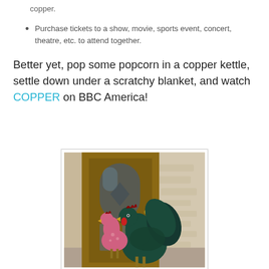copper.
Purchase tickets to a show, movie, sports event, concert, theatre, etc. to attend together.
Better yet, pop some popcorn in a copper kettle, settle down under a scratchy blanket, and watch COPPER on BBC America!
[Figure (photo): Two decorative rooster figurines standing on a porch in front of a wooden front door with glass panels and stone wall background. One rooster is smaller and pink/red, the other is larger and dark teal/green.]